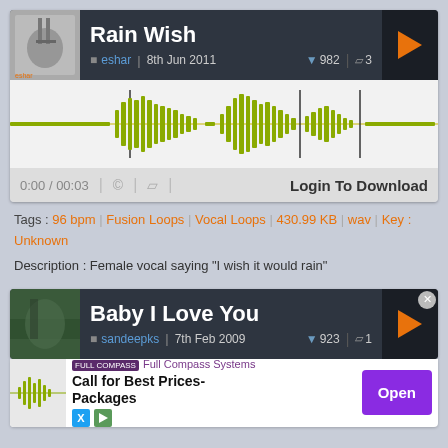Rain Wish
eshar | 8th Jun 2011 | ▼ 982 | 💬 3
[Figure (other): Audio waveform visualization for Rain Wish track]
0:00 / 00:03 | © | 💬 | Login To Download
Tags : 96 bpm | Fusion Loops | Vocal Loops | 430.99 KB | wav | Key : Unknown
Description : Female vocal saying "I wish it would rain"
Baby I Love You
sandeepks | 7th Feb 2009 | ▼ 923 | 💬 1
[Figure (other): Audio waveform visualization for Baby I Love You track]
Full Compass Systems - Call for Best Prices-Packages - Open